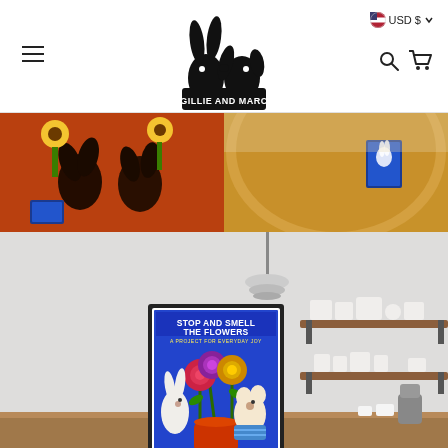[Figure (screenshot): Gillie and Marc online store header with hamburger menu, logo (rabbit and dog silhouette with GILLIE AND MARC text), USD currency selector, search and cart icons]
[Figure (photo): Banner strip showing two photos: left photo has sunflowers and decorative rabbit figures on red/orange fabric with small art cards; right photo shows a round wooden table with an art card featuring a rabbit character]
[Figure (photo): Kitchen interior scene with a framed colorful poster on the wall reading STOP AND SMELL THE FLOWERS with rabbit and dog characters smelling roses on blue background. Kitchen has wooden shelves with white ceramics, a wine bottle, wine glasses, and a wooden counter.]